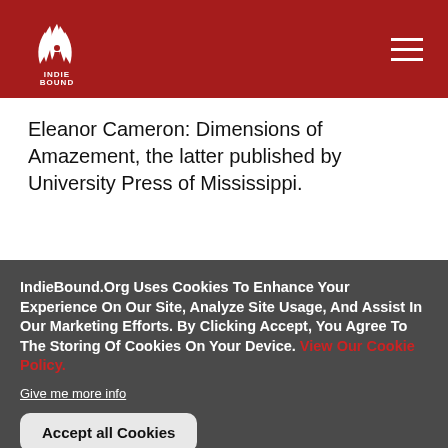[Figure (logo): IndieBound logo: stylized bird/book graphic in white on dark red background with INDIE BOUND text below]
Eleanor Cameron: Dimensions of Amazement, the latter published by University Press of Mississippi.
IndieBound.Org Uses Cookies To Enhance Your Experience On Our Site, Analyze Site Usage, And Assist In Our Marketing Efforts. By Clicking Accept, You Agree To The Storing Of Cookies On Your Device. View Our Cookie Policy.
Give me more info
Accept all Cookies